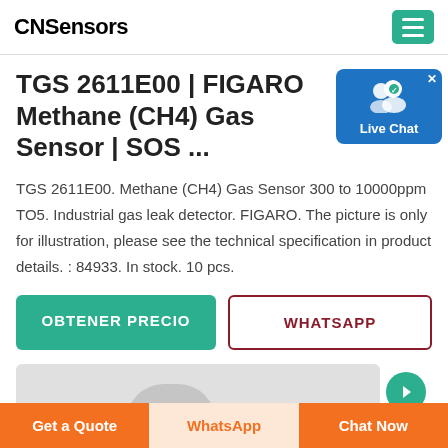CNSensors
TGS 2611E00 | FIGARO Methane (CH4) Gas Sensor | SOS ...
TGS 2611E00. Methane (CH4) Gas Sensor 300 to 10000ppm TO5. Industrial gas leak detector. FIGARO. The picture is only for illustration, please see the technical specification in product details. : 84933. In stock. 10 pcs.
[Figure (other): Live Chat badge with user icon]
[Figure (other): Product image strip preview with scroll button]
OBTENER PRECIO
WHATSAPP
Get a Quote | WhatsApp | Chat Now